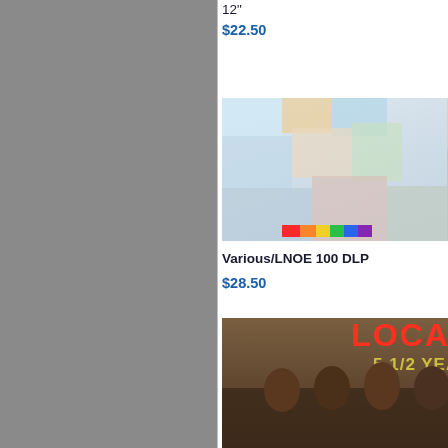12"
$22.50
BAT
$37.5
[Figure (photo): Album cover for Various/LNOE 100 DLP - colorful collage artwork with city imagery and a golden circle with face icons]
[Figure (photo): Partial album cover with orange-to-red gradient background]
Various/LNOE 100 DLP
$28.50
Vario
1 12"
$15.0
[Figure (photo): Album cover for Local Talk 5 1/2 Years Later Part Two - featuring group of men in sepia tone]
[Figure (photo): Partial dark album cover with red line detail]